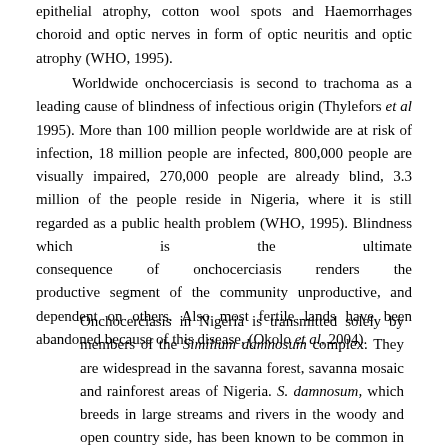epithelial atrophy, cotton wool spots and Haemorrhages choroid and optic nerves in form of optic neuritis and optic atrophy (WHO, 1995).
Worldwide onchocerciasis is second to trachoma as a leading cause of blindness of infectious origin (Thylefors et al 1995). More than 100 million people worldwide are at risk of infection, 18 million people are infected, 800,000 people are visually impaired, 270,000 people are already blind, 3.3 million of the people reside in Nigeria, where it is still regarded as a public health problem (WHO, 1995). Blindness which is the ultimate consequence of onchocerciasis renders the productive segment of the community unproductive, and dependent on others. Also most fertile lands have been abandoned because of this disease, (Okolo et al, 2004).
Onchocerciasis in Nigeria is transmitted solely by members of the Similium damnosum complex. They are widespread in the savanna forest, savanna mosaic and rainforest areas of Nigeria. S. damnosum, which breeds in large streams and rivers in the woody and open country side, has been known to be common in the rocky sections of the river Niger and its tributaries (Eneanya and Nwaorgu, 2001). Maikaje et al (2008) ...